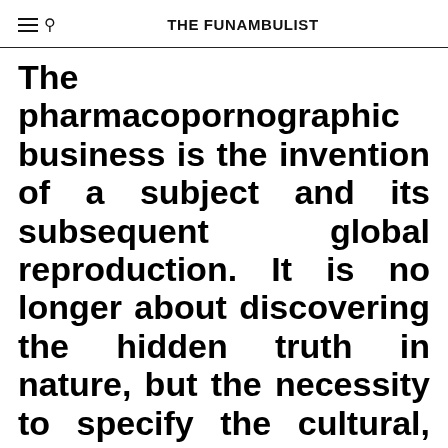THE FUNAMBULIST
The pharmacopornographic business is the invention of a subject and its subsequent global reproduction. It is no longer about discovering the hidden truth in nature, but the necessity to specify the cultural, political, and technological processes